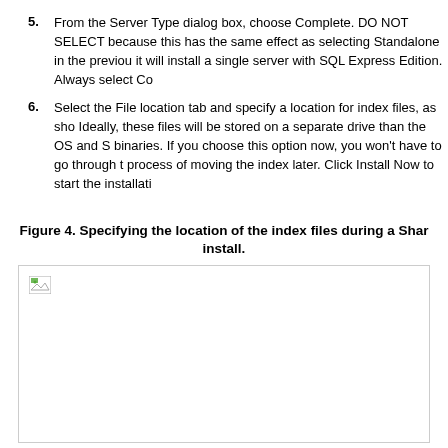5. From the Server Type dialog box, choose Complete. DO NOT SELECT because this has the same effect as selecting Standalone in the previous it will install a single server with SQL Express Edition. Always select Co
6. Select the File location tab and specify a location for index files, as show Ideally, these files will be stored on a separate drive than the OS and S binaries. If you choose this option now, you won't have to go through the process of moving the index later. Click Install Now to start the installatio
Figure 4. Specifying the location of the index files during a Shar install.
[Figure (screenshot): A screenshot placeholder showing a broken image icon in the top-left corner, representing the installation dialog for specifying the location of index files during a SharePoint install.]